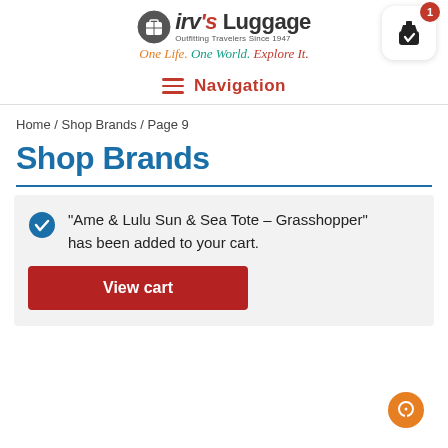[Figure (logo): Irv's Luggage logo with circular suitcase icon, brand name 'irvs Luggage', tagline 'Outfitting Travelers Since 1947', and italic colored slogan 'One Life. One World. Explore It.']
[Figure (other): Shopping cart icon button with red badge showing '1']
Navigation
Home / Shop Brands / Page 9
Shop Brands
"Ame & Lulu Sun & Sea Tote – Grasshopper" has been added to your cart.
View cart